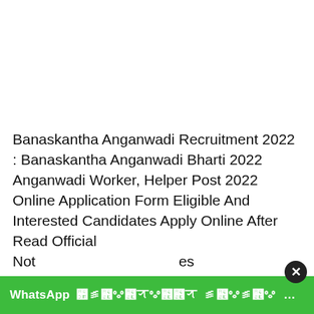Banaskantha Anganwadi Recruitment 2022 : Banaskantha Anganwadi Bharti 2022 Anganwadi Worker, Helper Post 2022   Online Application Form Eligible And Interested Candidates Apply Online After Read Official Not...                                                ...es
[Figure (other): WhatsApp promotional banner in green with white bold text reading 'WhatsApp' followed by Gujarati/Hindi script text, with a close (X) button overlapping at the top right]